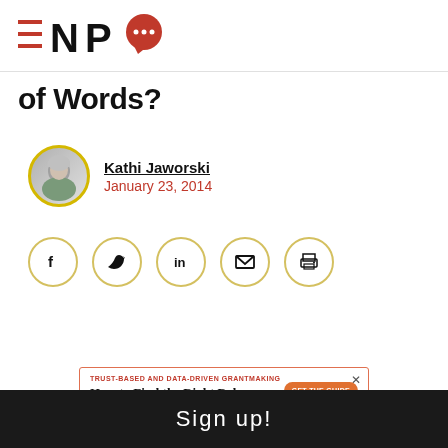[Figure (logo): NPQ (Nonprofit Quarterly) logo with hamburger menu icon, letters NPQ, and red speech bubble with three dots]
of Words?
Kathi Jaworski
January 23, 2014
[Figure (infographic): Row of five circular social sharing buttons: Facebook, Twitter, LinkedIn, Email, Print]
[Figure (infographic): Advertisement banner: TRUST-BASED AND DATA-DRIVEN GRANTMAKING — How to Find the Right Balance — GET THE GUIDE — Submittable]
Sign up!